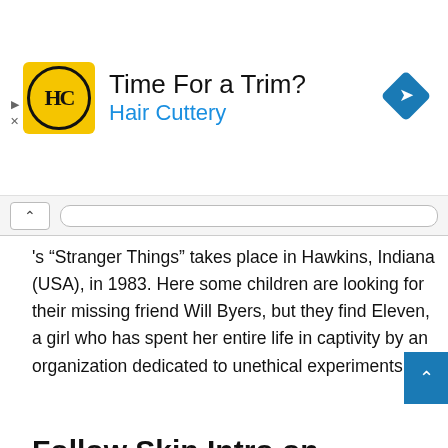[Figure (other): Hair Cuttery advertisement banner with yellow logo showing 'HC' in circle, text 'Time For a Trim?' and 'Hair Cuttery' in blue, blue diamond navigation icon on right]
's “Stranger Things” takes place in Hawkins, Indiana (USA), in 1983. Here some children are looking for their missing friend Will Byers, but they find Eleven, a girl who has spent her entire life in captivity by an organization dedicated to unethical experiments.
Follow Skip Intro on Instagram:
RECOMMENDED VIDEO
[Figure (photo): Close-up photo of a child's face, partially visible, dark toned image]